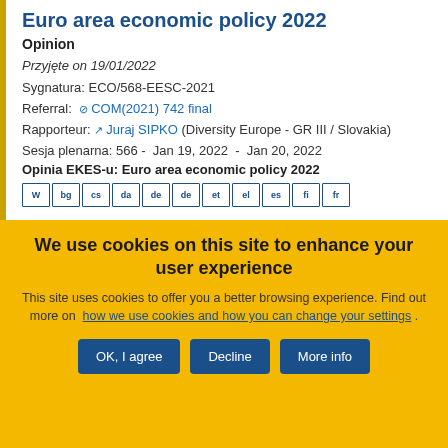Euro area economic policy 2022
Opinion
Przyjęte on 19/01/2022
Sygnatura: ECO/568-EESC-2021
Referral: COM(2021) 742 final
Rapporteur: Juraj SIPKO (Diversity Europe - GR III / Slovakia)
Sesja plenarna: 566 - Jan 19, 2022 - Jan 20, 2022
Opinia EKES-u: Euro area economic policy 2022
We use cookies on this site to enhance your user experience
This site uses cookies to offer you a better browsing experience. Find out more on how we use cookies and how you can change your settings .